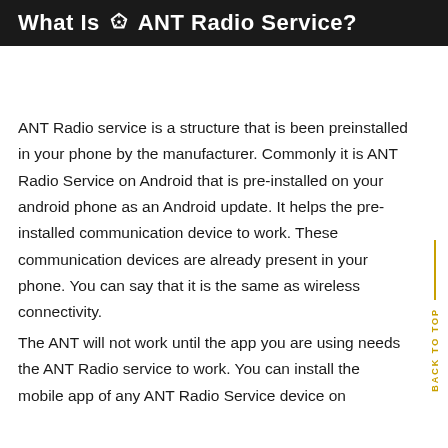What Is ANT Radio Service?
ANT Radio service is a structure that is been preinstalled in your phone by the manufacturer. Commonly it is ANT Radio Service on Android that is pre-installed on your android phone as an Android update. It helps the pre-installed communication device to work. These communication devices are already present in your phone. You can say that it is the same as wireless connectivity.
The ANT will not work until the app you are using needs the ANT Radio service to work. You can install the mobile app of any ANT Radio Service device on